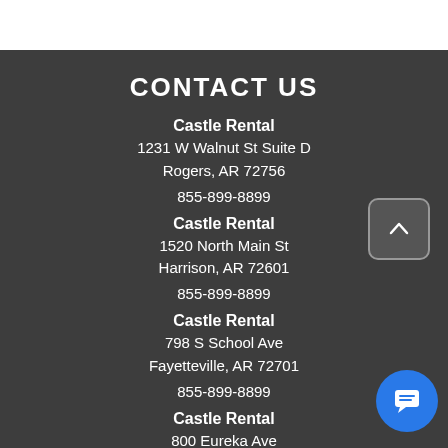CONTACT US
Castle Rental
1231 W Walnut St Suite D
Rogers, AR 72756
855-899-8899
Castle Rental
1520 North Main St
Harrison, AR 72601
855-899-8899
Castle Rental
798 S School Ave
Fayetteville, AR 72701
855-899-8899
Castle Rental
800 Eureka Ave